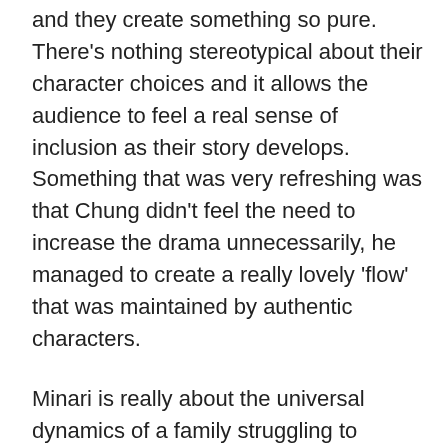and they create something so pure. There's nothing stereotypical about their character choices and it allows the audience to feel a real sense of inclusion as their story develops. Something that was very refreshing was that Chung didn't feel the need to increase the drama unnecessarily, he managed to create a really lovely 'flow' that was maintained by authentic characters.
Minari is really about the universal dynamics of a family struggling to survive and daring to want to thrive. Of what happens to men, to fathers, when they feel they have to succeed at the expense of everything else, including the very family they're claiming to do it for. But also about roots: how they're sunk and can be torn out if not tended to. The gentle, quietly rhythmic pace could mistakenly be